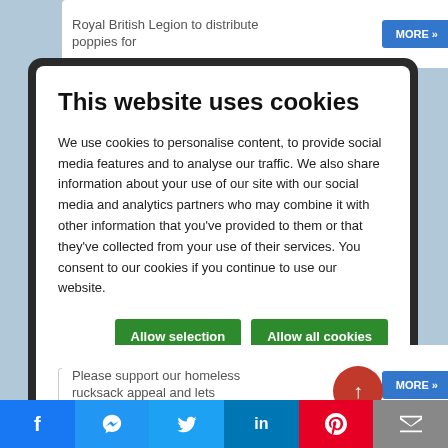Royal British Legion to distribute poppies for
This website uses cookies
We use cookies to personalise content, to provide social media features and to analyse our traffic. We also share information about your use of our site with our social media and analytics partners who may combine it with other information that you've provided to them or that they've collected from your use of their services. You consent to our cookies if you continue to use our website.
Allow selection | Allow all cookies
Necessary  Preferences  Statistics  Marketing  Show details
Please support our homeless rucksack appeal and lets
f  [messenger]  [twitter]  in  P  [mail]